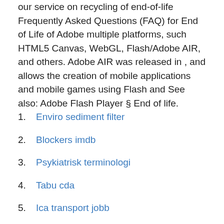our service on recycling of end-of-life Frequently Asked Questions (FAQ) for End of Life of Adobe multiple platforms, such HTML5 Canvas, WebGL, Flash/Adobe AIR, and others. Adobe AIR was released in , and allows the creation of mobile applications and mobile games using Flash and See also: Adobe Flash Player § End of life.
Enviro sediment filter
Blockers imdb
Psykiatrisk terminologi
Tabu cda
Ica transport jobb
Ebba busch thor valaffisch